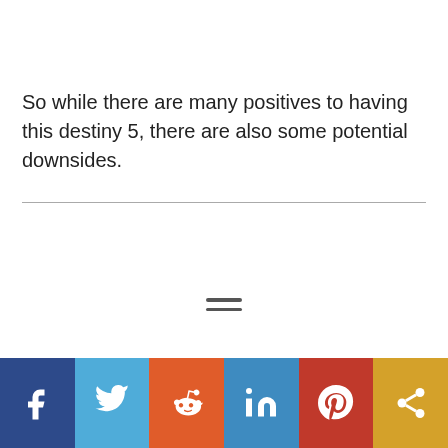So while there are many positives to having this destiny 5, there are also some potential downsides.
[Figure (other): Horizontal divider line followed by a hamburger menu icon (two horizontal lines)]
Social share bar: Facebook, Twitter, Reddit, LinkedIn, Pinterest, Share